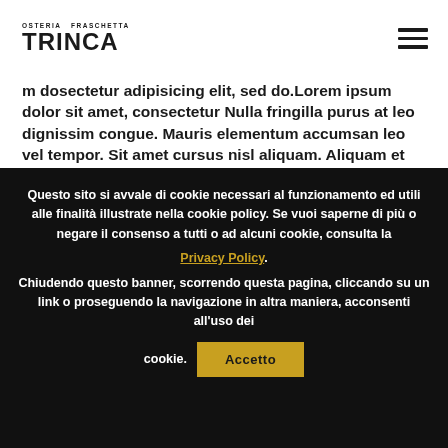[Figure (logo): Osteria Fraschetta Trinca logo with text in two lines]
Lorem ipsum dosectetur adipisicing elit, sed do.Lorem ipsum dolor sit amet, consectetur Nulla fringilla purus at leo dignissim congue. Mauris elementum accumsan leo vel tempor. Sit amet cursus nisl aliquam. Aliquam et elit eu nunc chancuasivare quicet folia
Questo sito si avvale di cookie necessari al funzionamento ed utili alle finalità illustrate nella cookie policy. Se vuoi saperne di più o negare il consenso a tutti o ad alcuni cookie, consulta la Privacy Policy. Chiudendo questo banner, scorrendo questa pagina, cliccando su un link o proseguendo la navigazione in altra maniera, acconsenti all'uso dei cookie. Accetto